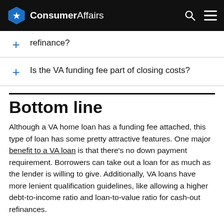ConsumerAffairs
refinance?
Is the VA funding fee part of closing costs?
Bottom line
Although a VA home loan has a funding fee attached, this type of loan has some pretty attractive features. One major benefit to a VA loan is that there's no down payment requirement. Borrowers can take out a loan for as much as the lender is willing to give. Additionally, VA loans have more lenient qualification guidelines, like allowing a higher debt-to-income ratio and loan-to-value ratio for cash-out refinances.